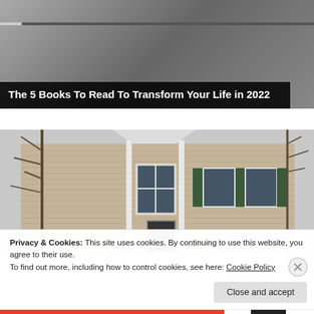[Figure (screenshot): Video thumbnail showing a person with a progress bar at top, overlaid with a dark title box reading 'The 5 Books To Read To Transform Your Life in 2022']
The 5 Books To Read To Transform Your Life in 2022
[Figure (photo): Exterior photo of a two-story house with tan/beige siding, white trim, green shutters, a gabled roof, and bare trees in the background]
Privacy & Cookies: This site uses cookies. By continuing to use this website, you agree to their use.
To find out more, including how to control cookies, see here: Cookie Policy
Close and accept